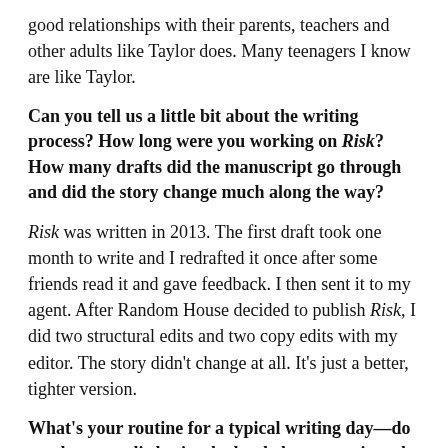good relationships with their parents, teachers and other adults like Taylor does. Many teenagers I know are like Taylor.
Can you tell us a little bit about the writing process? How long were you working on Risk? How many drafts did the manuscript go through and did the story change much along the way?
Risk was written in 2013. The first draft took one month to write and I redrafted it once after some friends read it and gave feedback. I then sent it to my agent. After Random House decided to publish Risk, I did two structural edits and two copy edits with my editor. The story didn't change at all. It's just a better, tighter version.
What's your routine for a typical writing day—do you have any little rituals that help get you into the creative headspace?